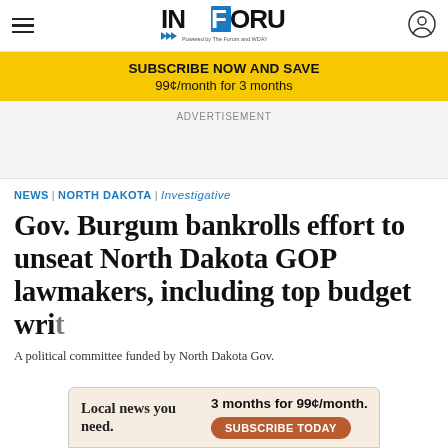InForum — Powered by The Forum and WDAY
SUBSCRIBE NOW AND SAVE
99¢/month for 3 months
ADVERTISEMENT
NEWS | NORTH DAKOTA | Investigative
Gov. Burgum bankrolls effort to unseat North Dakota GOP lawmakers, including top budget writers
A political committee funded by North Dakota Gov.
Local news you need.
3 months for 99¢/month.
SUBSCRIBE TODAY